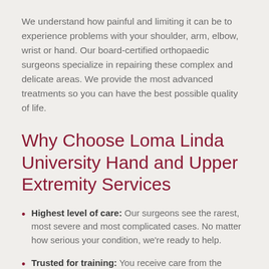We understand how painful and limiting it can be to experience problems with your shoulder, arm, elbow, wrist or hand. Our board-certified orthopaedic surgeons specialize in repairing these complex and delicate areas. We provide the most advanced treatments so you can have the best possible quality of life.
Why Choose Loma Linda University Hand and Upper Extremity Services
Highest level of care: Our surgeons see the rarest, most severe and most complicated cases. No matter how serious your condition, we're ready to help.
Trusted for training: You receive care from the experts that surgeons trust for training. Surgeons